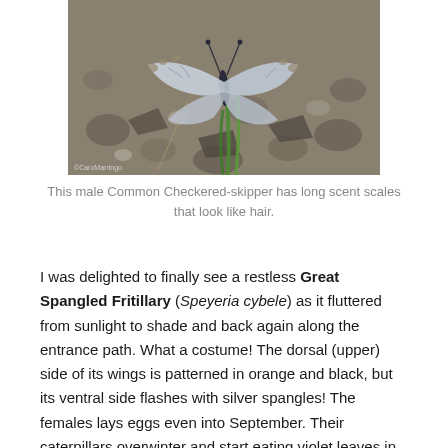[Figure (photo): A male Common Checkered-skipper butterfly resting on rocky/gravelly ground with some green grass blades visible. The butterfly has blue-gray and white patterned wings. Photo credit: © CaroMarringo]
This male Common Checkered-skipper has long scent scales that look like hair.
I was delighted to finally see a restless Great Spangled Fritillary (Speyeria cybele) as it fluttered from sunlight to shade and back again along the entrance path. What a costume! The dorsal (upper) side of its wings is patterned in orange and black, but its ventral side flashes with silver spangles! The females lays eggs even into September. Their caterpillars overwinter and start eating violet leaves in the spring, according to the Butterflies of Michigan Field Guide